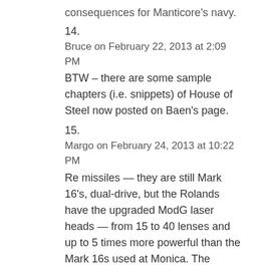consequences for Manticore's navy.
14.
Bruce on February 22, 2013 at 2:09 PM
BTW – there are some sample chapters (i.e. snippets) of House of Steel now posted on Baen's page.
15.
Margo on February 24, 2013 at 10:22 PM
Re missiles — they are still Mark 16's, dual-drive, but the Rolands have the upgraded ModG laser heads — from 15 to 40 lenses and up to 5 times more powerful than the Mark 16s used at Monica. The Rolands are the only DDs which can use the Mark 16s